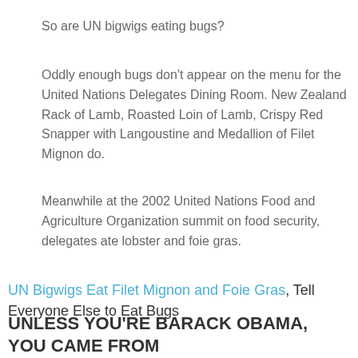So are UN bigwigs eating bugs?
Oddly enough bugs don't appear on the menu for the United Nations Delegates Dining Room. New Zealand Rack of Lamb, Roasted Loin of Lamb, Crispy Red Snapper with Langoustine and Medallion of Filet Mignon do.
Meanwhile at the 2002 United Nations Food and Agriculture Organization summit on food security, delegates ate lobster and foie gras.
UN Bigwigs Eat Filet Mignon and Foie Gras, Tell Everyone Else to Eat Bugs
UNLESS YOU'RE BARACK OBAMA, YOU CAME FROM